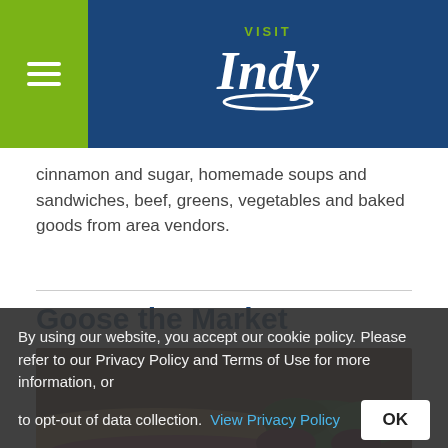[Figure (logo): Visit Indy logo — white cursive 'Indy' text with 'VISIT' above in lime green, on dark blue background. Green sidebar with hamburger menu icon on left.]
cinnamon and sugar, homemade soups and sandwiches, beef, greens, vegetables and baked goods from area vendors.
Goose the Market
[Figure (photo): Close-up photo of a gourmet sandwich or sub with meats, greens, pickled vegetables, carrots, and other colorful toppings on a baguette-style bread, on a wooden surface.]
By using our website, you accept our cookie policy. Please refer to our Privacy Policy and Terms of Use for more information, or to opt-out of data collection. View Privacy Policy OK